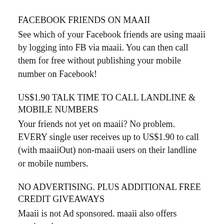FACEBOOK FRIENDS ON MAAII
See which of your Facebook friends are using maaii by logging into FB via maaii. You can then call them for free without publishing your mobile number on Facebook!
US$1.90 TALK TIME TO CALL LANDLINE & MOBILE NUMBERS
Your friends not yet on maaii? No problem. EVERY single user receives up to US$1.90 to call (with maaiiOut) non-maaii users on their landline or mobile numbers.
NO ADVERTISING. PLUS ADDITIONAL FREE CREDIT GIVEAWAYS
Maaii is not Ad sponsored. maaii also offers continued